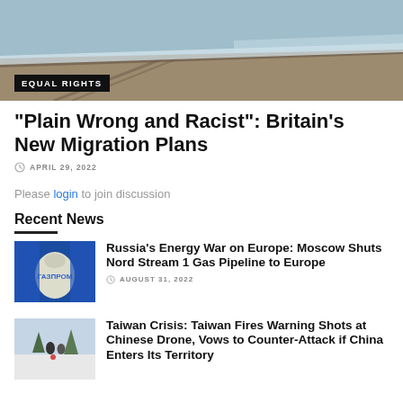[Figure (photo): Aerial or ground-level photo of a beach shoreline with sand, tire tracks, and ocean waves]
EQUAL RIGHTS
“Plain Wrong and Racist”: Britain’s New Migration Plans
APRIL 29, 2022
Please login to join discussion
Recent News
[Figure (photo): Blue industrial tank or gas cylinder with Gazprom-style logo]
Russia’s Energy War on Europe: Moscow Shuts Nord Stream 1 Gas Pipeline to Europe
AUGUST 31, 2022
[Figure (photo): Two people holding hands in winter landscape with trees]
Taiwan Crisis: Taiwan Fires Warning Shots at Chinese Drone, Vows to Counter-Attack if China Enters Its Territory